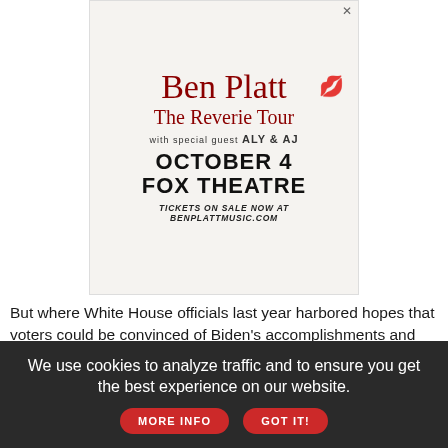[Figure (infographic): Ben Platt The Reverie Tour concert advertisement. Features stylized cursive red text 'Ben Platt' with a red kiss mark, 'The Reverie Tour' in red cursive, 'WITH SPECIAL GUEST ALY & AJ' in sans-serif, 'OCTOBER 4 FOX THEATRE' in bold black, and 'TICKETS ON SALE NOW AT BENPLATTMUSIC.COM' at bottom.]
But where White House officials last year harbored hopes that voters could be convinced of Biden's accomplishments and reverse their dismal outlook on the national direction, aides now acknowledge that such an uphill battle is no longer worth fighting.
We use cookies to analyze traffic and to ensure you get the best experience on our website.